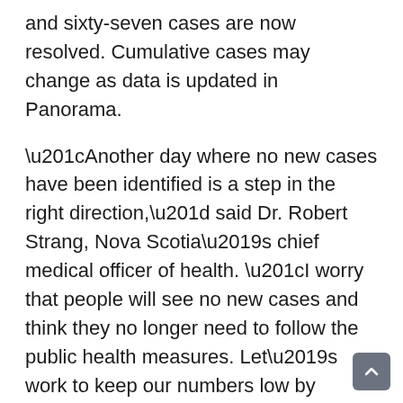and sixty-seven cases are now resolved. Cumulative cases may change as data is updated in Panorama.
“Another day where no new cases have been identified is a step in the right direction,” said Dr. Robert Strang, Nova Scotia’s chief medical officer of health. “I worry that people will see no new cases and think they no longer need to follow the public health measures. Let’s work to keep our numbers low by remaining vigilant – wear a mask, limit social contacts, practise social distancing, adhere to the gathering limit, stay home if you feel unwell and wash your hands.”
Post-secondary students returning to Nova Scotia from anywhere except Prince Edward Island or